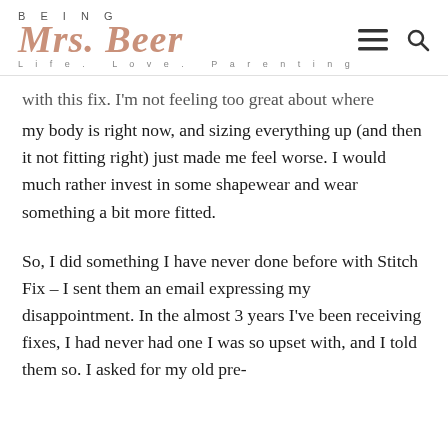BEING Mrs. Beer — Life. Love. Parenting
with this fix. I'm not feeling too great about where my body is right now, and sizing everything up (and then it not fitting right) just made me feel worse. I would much rather invest in some shapewear and wear something a bit more fitted.
So, I did something I have never done before with Stitch Fix – I sent them an email expressing my disappointment. In the almost 3 years I've been receiving fixes, I had never had one I was so upset with, and I told them so. I asked for my old pre-